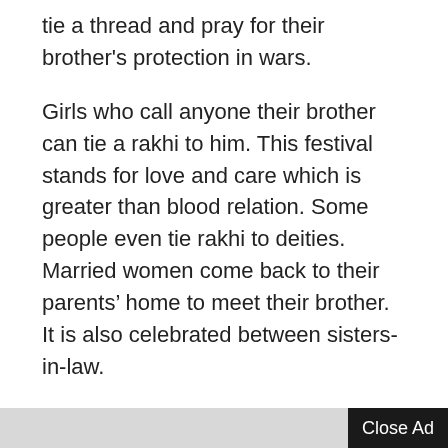tie a thread and pray for their brother's protection in wars.
Girls who call anyone their brother can tie a rakhi to him. This festival stands for love and care which is greater than blood relation. Some people even tie rakhi to deities. Married women come back to their parents' home to meet their brother. It is also celebrated between sisters-in-law.
Close Ad